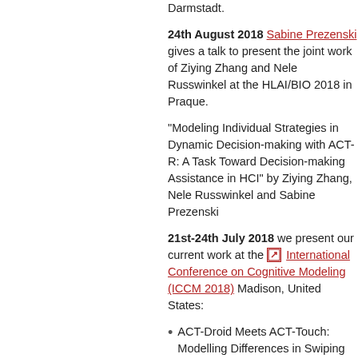Darmstadt.
24th August 2018 Sabine Prezenski gives a talk to present the joint work of Ziying Zhang and Nele Russwinkel at the HLAI/BIO 2018 in Praque.
"Modeling Individual Strategies in Dynamic Decision-making with ACT-R: A Task Toward Decision-making Assistance in HCI" by Ziying Zhang, Nele Russwinkel and Sabine Prezenski
21st-24th July 2018 we present our current work at the International Conference on Cognitive Modeling (ICCM 2018) Madison, United States:
ACT-Droid Meets ACT-Touch: Modelling Differences in Swiping Behavior with Real Apps von Nele Russwinkel, Sabine Prezenski, Lisa-Madeleine Dö... and Frank Tamborello